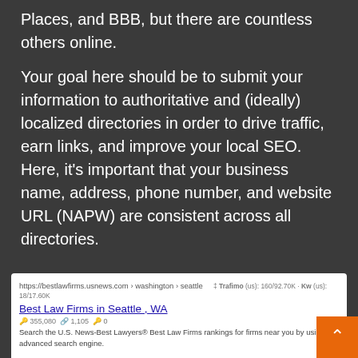Places, and BBB, but there are countless others online.
Your goal here should be to submit your information to authoritative and (ideally) localized directories in order to drive traffic, earn links, and improve your local SEO. Here, it’s important that your business name, address, phone number, and website URL (NAPW) are consistent across all directories.
[Figure (screenshot): Screenshot of Google search results showing three results for 'Best Law Firms in Seattle WA' related queries from bestlawfirms.usnews.com and bcgsearch.com, with Trafimo and Kw metrics shown.]